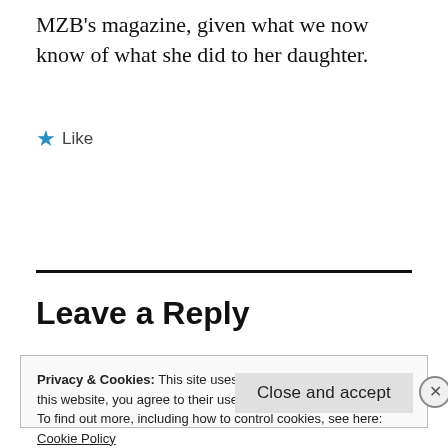MZB's magazine, given what we now know of what she did to her daughter.
★ Like
Reply
Leave a Reply
Privacy & Cookies: This site uses cookies. By continuing to use this website, you agree to their use.
To find out more, including how to control cookies, see here:
Cookie Policy
Close and accept